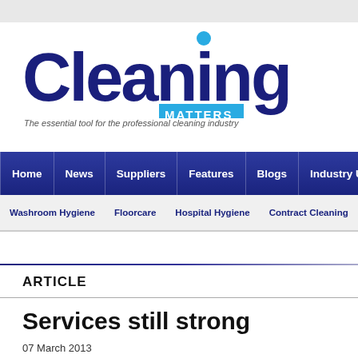[Figure (logo): Cleaning Matters magazine logo with blue circle dot over the 'i', with MATTERS in a cyan/blue badge, tagline below]
The essential tool for the professional cleaning industry
Home | News | Suppliers | Features | Blogs | Industry Updates
Washroom Hygiene | Floorcare | Hospital Hygiene | Contract Cleaning | Sus...
Training, Education & Events   Catering & food hygiene
Home > FLOORCARE > Carpet & Upholstery care > Services still strong
ARTICLE
Services still strong
07 March 2013